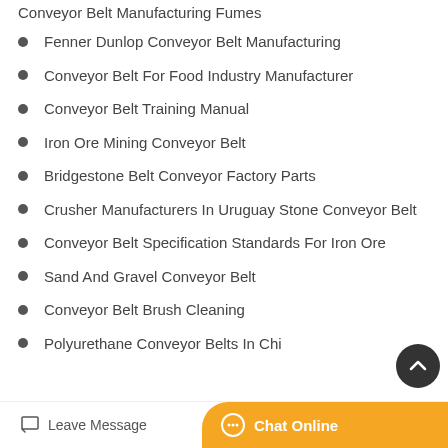Conveyor Belt Manufacturing Fumes
Fenner Dunlop Conveyor Belt Manufacturing
Conveyor Belt For Food Industry Manufacturer
Conveyor Belt Training Manual
Iron Ore Mining Conveyor Belt
Bridgestone Belt Conveyor Factory Parts
Crusher Manufacturers In Uruguay Stone Conveyor Belt
Conveyor Belt Specification Standards For Iron Ore
Sand And Gravel Conveyor Belt
Conveyor Belt Brush Cleaning
Polyurethane Conveyor Belts In Chi…